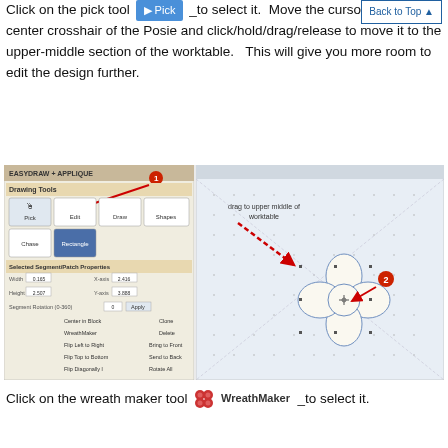Click on the pick tool [Pick] to select it.  Move the cursor over to the center crosshair of the Posie and click/hold/drag/release to move it to the upper-middle section of the worktable.   This will give you more room to edit the design further.
[Figure (screenshot): Screenshot of EasyDraw + Applique software showing Drawing Tools panel on the left with Pick, Edit, Draw, Shapes, Chase, Rectangle tools and Selected Segment/Patch Properties panel. On the right is the worktable with a flower/Posie shape and a dotted red arrow indicating dragging to upper middle of worktable. Labels: '1' on Drawing Tools, '2' on the Posie shape, text 'drag to upper middle of worktable'.]
Click on the wreath maker tool [WreathMaker icon] WreathMaker _to select it.